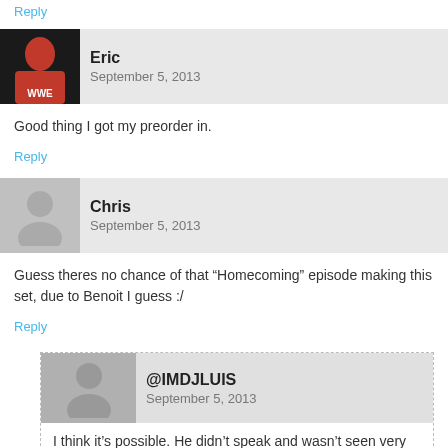Reply
Eric
September 5, 2013
Good thing I got my preorder in.
Reply
Chris
September 5, 2013
Guess theres no chance of that “Homecoming” episode making this set, due to Benoit I guess :/
Reply
@IMDJLUIS
September 5, 2013
I think it’s possible. He didn’t speak and wasn’t seen very much. Remember, Eric Bischoff came out and canceled their match.